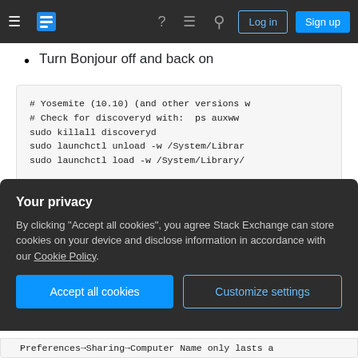Stack Exchange navigation bar with hamburger menu, logo, help, chat, search icons, Log in and Sign up buttons
Turn Bonjour off and back on
[Figure (screenshot): Code block showing shell commands to restart Bonjour/mDNS on macOS Yosemite and older versions]
Your privacy
By clicking "Accept all cookies", you agree Stack Exchange can store cookies on your device and disclose information in accordance with our Cookie Policy.
Accept all cookies   Customize settings
Preferences→Sharing→Computer Name only lasts a